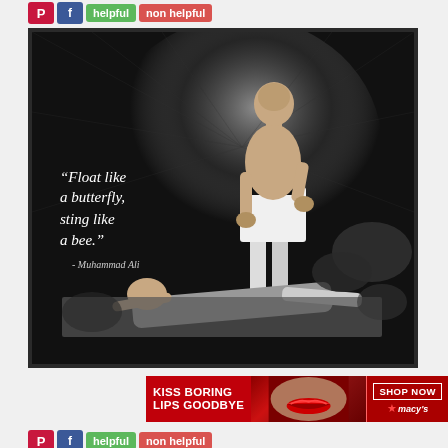[Figure (other): Social sharing buttons: Pinterest (red P), Facebook (blue f), green 'helpful' button, red 'non helpful' button]
[Figure (photo): Black and white photo of Muhammad Ali standing over a knocked-down opponent in a boxing ring. The image has a dark frame/mat. Overlaid italic white text reads: "Float like a butterfly, sting like a bee." - Muhammad Ali]
[Figure (photo): Advertisement banner for Macy's cosmetics: 'KISS BORING LIPS GOODBYE' with a close-up photo of a woman with red lips, and a 'SHOP NOW' button with the Macy's star logo]
[Figure (other): Social sharing buttons: Pinterest (red P), Facebook (blue f), green 'helpful' button, red 'non helpful' button]